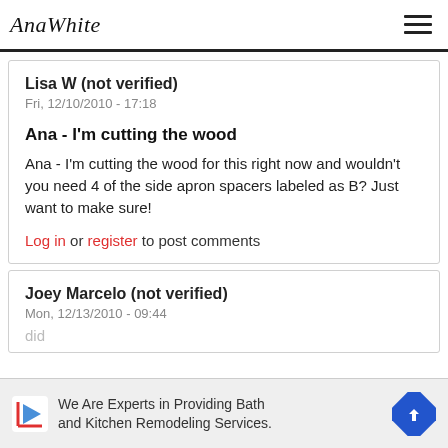AnaWhite
Lisa W (not verified)
Fri, 12/10/2010 - 17:18
Ana - I'm cutting the wood
Ana - I'm cutting the wood for this right now and wouldn't you need 4 of the side apron spacers labeled as B? Just want to make sure!
Log in or register to post comments
Joey Marcelo (not verified)
Mon, 12/13/2010 - 09:44
[Figure (infographic): Advertisement banner: We Are Experts in Providing Bath and Kitchen Remodeling Services. with a play button icon and a blue diamond arrow icon.]